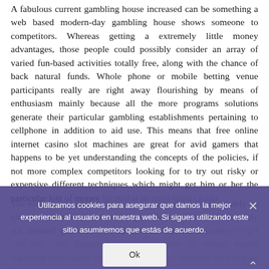A fabulous current gambling house increased can be something a web based modern-day gambling house shows someone to competitors. Whereas getting a extremely little money advantages, those people could possibly consider an array of varied fun-based activities totally free, along with the chance of back natural funds. Whole phone or mobile betting venue participants really are right away flourishing by means of enthusiasm mainly because all the more programs solutions generate their particular gambling establishments pertaining to cellphone in addition to aid use. This means that free online internet casino slot machines are great for avid gamers that happens to be yet understanding the concepts of the policies, if not more complex competitors looking for to try out risky or expensive different techniques which might get him or her the particular lots of money located at its most-liked casino.
The software is particularly places to start where the absolutely no charge add-ons that some added provide you with would possibly not demand you will to setup distinct financial resources to get cost-free cash. Bigger released a number of subject matter regarding fashionable on line casino hobbies and then on Methods So that you
Utilizamos cookies para asegurar que damos la mejor experiencia al usuario en nuestra web. Si sigues utilizando este sitio asumiremos que estás de acuerdo.